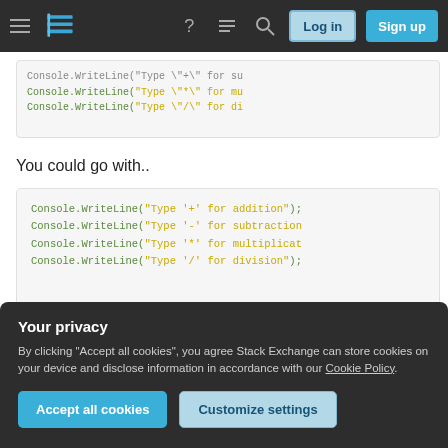Stack Exchange navigation bar with hamburger menu, logo, help, chat, search icons, Log in and Sign up buttons
[Figure (screenshot): Partial code block showing Console.WriteLine statements for type operators with escaped quotes]
You could go with..
[Figure (screenshot): Code block: Console.WriteLine("Type '+' for addition"); Console.WriteLine("Type '-' for subtraction"); Console.WriteLine("Type '*' for multiplication"); Console.WriteLine("Type '/' for division");]
Or
Your privacy
By clicking "Accept all cookies", you agree Stack Exchange can store cookies on your device and disclose information in accordance with our Cookie Policy.
Accept all cookies   Customize settings